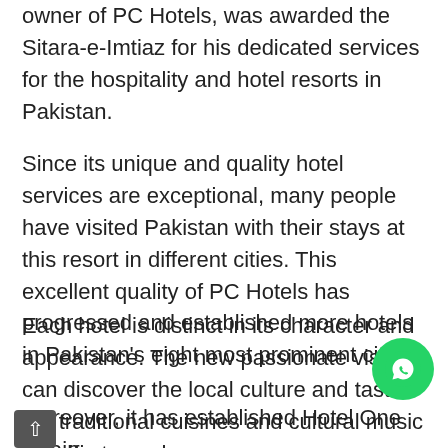owner of PC Hotels, was awarded the Sitara-e-Imtiaz for his dedicated services for the hospitality and hotel resorts in Pakistan.
Since its unique and quality hotel services are exceptional, many people have visited Pakistan with their stays at this resort in different cities. This excellent quality of PC Hotels has progressed and established more hotels in Pakistan's eight most prominent cities.
Each hotel is distinct in its character and appearance. The new passionate visitors can discover the local culture and taste the traditional cuisines and cultural music specific to each
Moreover, it has established Hotel One Chain